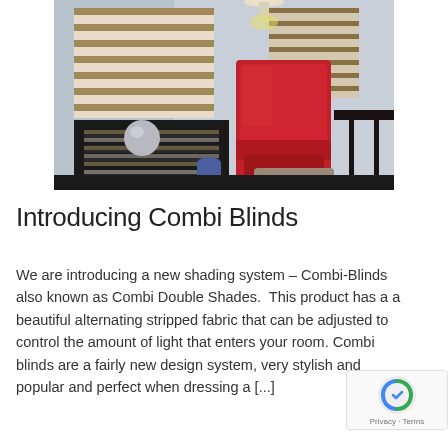[Figure (photo): Interior room photo showing venetian/combi blinds on a window with horizontal alternating strips, a red high-back chair, black shelving unit, and decorative items on a table.]
Introducing Combi Blinds
We are introducing a new shading system – Combi-Blinds also known as Combi Double Shades.  This product has a a beautiful alternating stripped fabric that can be adjusted to control the amount of light that enters your room. Combi blinds are a fairly new design system, very stylish and popular and perfect when dressing a [...]